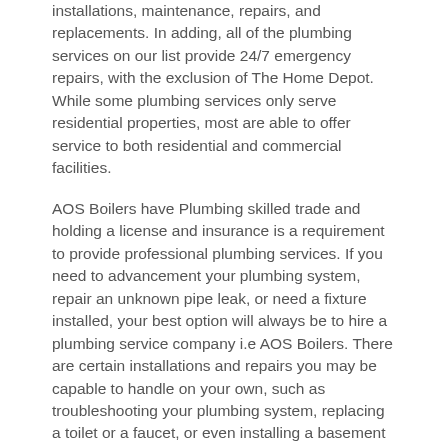installations, maintenance, repairs, and replacements. In adding, all of the plumbing services on our list provide 24/7 emergency repairs, with the exclusion of The Home Depot. While some plumbing services only serve residential properties, most are able to offer service to both residential and commercial facilities.
AOS Boilers have Plumbing skilled trade and holding a license and insurance is a requirement to provide professional plumbing services. If you need to advancement your plumbing system, repair an unknown pipe leak, or need a fixture installed, your best option will always be to hire a plumbing service company i.e AOS Boilers. There are certain installations and repairs you may be capable to handle on your own, such as troubleshooting your plumbing system, replacing a toilet or a faucet, or even installing a basement sump pump. For professional plumbing service call us now on 0203-504-3454. You Can Also Google us AOS Boilers London .